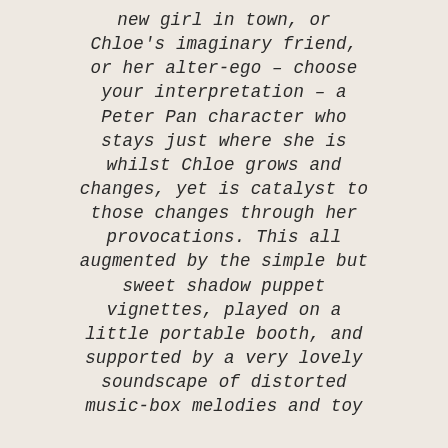new girl in town, or Chloe's imaginary friend, or her alter-ego – choose your interpretation – a Peter Pan character who stays just where she is whilst Chloe grows and changes, yet is catalyst to those changes through her provocations. This all augmented by the simple but sweet shadow puppet vignettes, played on a little portable booth, and supported by a very lovely soundscape of distorted music-box melodies and toy